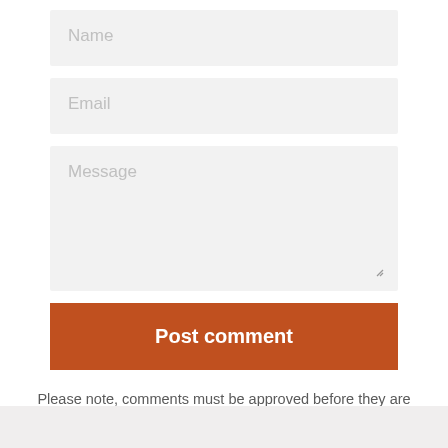[Figure (screenshot): Web form with Name input field (placeholder text 'Name'), light gray background]
[Figure (screenshot): Web form with Email input field (placeholder text 'Email'), light gray background]
[Figure (screenshot): Web form with Message textarea (placeholder text 'Message'), light gray background, resize handle at bottom right]
Post comment
Please note, comments must be approved before they are published